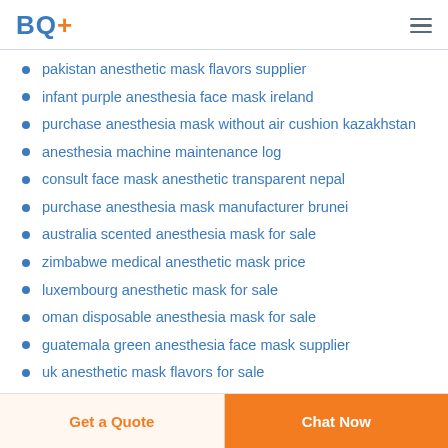BQ+
pakistan anesthetic mask flavors supplier
infant purple anesthesia face mask ireland
purchase anesthesia mask without air cushion kazakhstan
anesthesia machine maintenance log
consult face mask anesthetic transparent nepal
purchase anesthesia mask manufacturer brunei
australia scented anesthesia mask for sale
zimbabwe medical anesthetic mask price
luxembourg anesthetic mask for sale
oman disposable anesthesia mask for sale
guatemala green anesthesia face mask supplier
uk anesthetic mask flavors for sale
Get a Quote  Chat Now